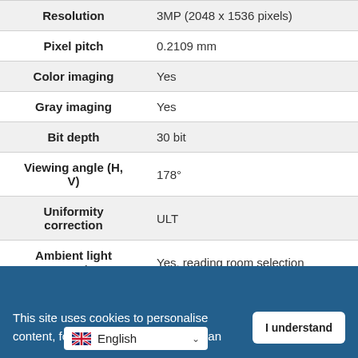| Specification | Value |
| --- | --- |
| Resolution | 3MP (2048 x 1536 pixels) |
| Pixel pitch | 0.2109 mm |
| Color imaging | Yes |
| Gray imaging | Yes |
| Bit depth | 30 bit |
| Viewing angle (H, V) | 178° |
| Uniformity correction | ULT |
| Ambient light presets | Yes, reading room selection |
| Backlight Output Stabilization (BLOS) | No |
This site uses cookies to personalise content, for account features, and to an…
I understand
English